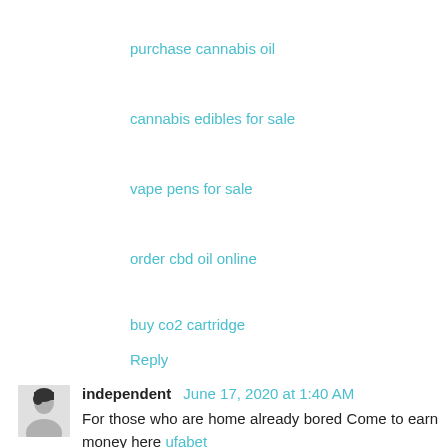purchase cannabis oil
cannabis edibles for sale
vape pens for sale
order cbd oil online
buy co2 cartridge
Reply
independent June 17, 2020 at 1:40 AM
For those who are home already bored Come to earn money here ufabet
Reply